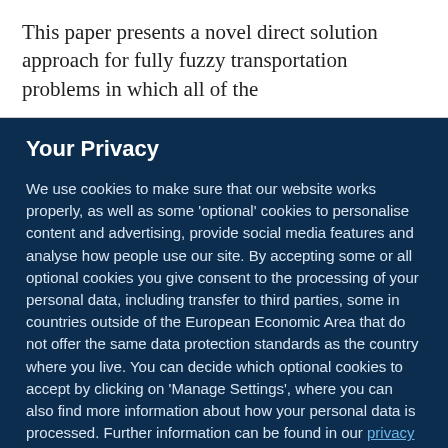This paper presents a novel direct solution approach for fully fuzzy transportation problems in which all of the
Your Privacy
We use cookies to make sure that our website works properly, as well as some 'optional' cookies to personalise content and advertising, provide social media features and analyse how people use our site. By accepting some or all optional cookies you give consent to the processing of your personal data, including transfer to third parties, some in countries outside of the European Economic Area that do not offer the same data protection standards as the country where you live. You can decide which optional cookies to accept by clicking on 'Manage Settings', where you can also find more information about how your personal data is processed. Further information can be found in our privacy policy.
Accept all cookies
Manage preferences